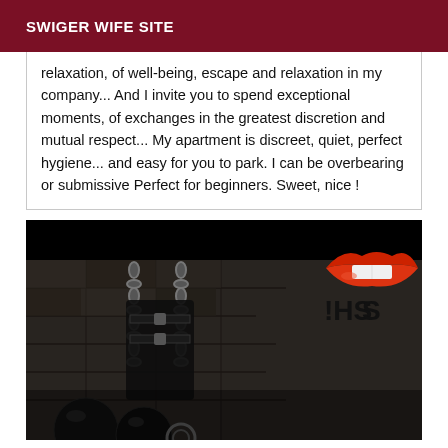SWIGER WIFE SITE
relaxation, of well-being, escape and relaxation in my company... And I invite you to spend exceptional moments, of exchanges in the greatest discretion and mutual respect... My apartment is discreet, quiet, perfect hygiene... and easy for you to park. I can be overbearing or submissive Perfect for beginners. Sweet, nice !
[Figure (photo): Dark dungeon/BDSM themed image with chains and restraints on a stone wall background, with red lips graphic and text '!HSS' in the upper right corner, and dark spherical objects at the bottom.]